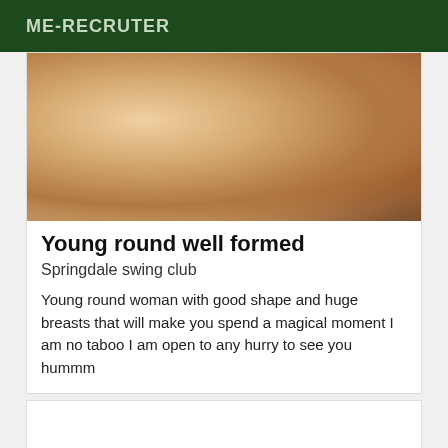ME-RECRUTER
[Figure (photo): Close-up photo showing skin tones in warm brown and beige hues]
Young round well formed
Springdale swing club
Young round woman with good shape and huge breasts that will make you spend a magical moment I am no taboo I am open to any hurry to see you hummm